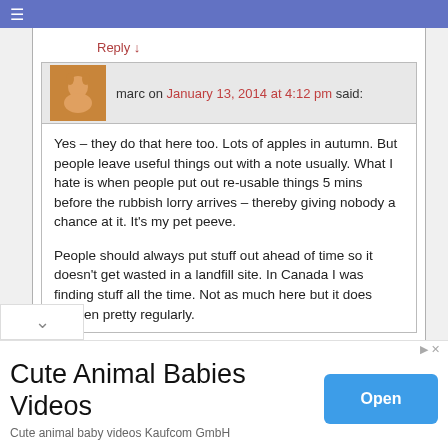≡
Reply ↓
marc on January 13, 2014 at 4:12 pm said:
Yes – they do that here too. Lots of apples in autumn. But people leave useful things out with a note usually. What I hate is when people put out re-usable things 5 mins before the rubbish lorry arrives – thereby giving nobody a chance at it. It's my pet peeve.

People should always put stuff out ahead of time so it doesn't get wasted in a landfill site. In Canada I was finding stuff all the time. Not as much here but it does happen pretty regularly.
[Figure (other): Advertisement banner: Cute Animal Babies Videos - Cute animal baby videos Kaufcom GmbH, with an Open button]